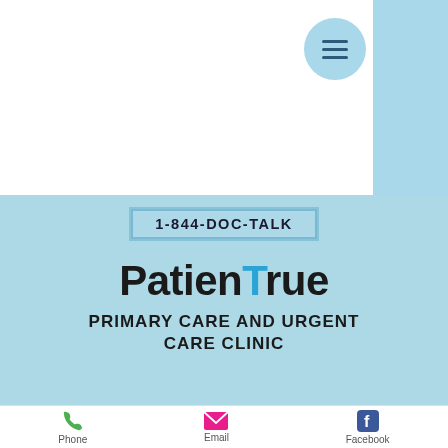[Figure (logo): Hamburger menu icon in a light blue circle, with a light blue vertical right panel strip]
1-844-DOC-TALK
PatienTrue
PRIMARY CARE AND URGENT CARE CLINIC
Phone    Email    Facebook